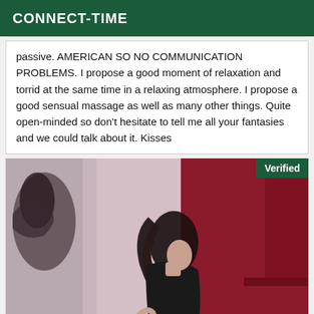CONNECT-TIME
passive. AMERICAN SO NO COMMUNICATION PROBLEMS. I propose a good moment of relaxation and torrid at the same time in a relaxing atmosphere. I propose a good sensual massage as well as many other things. Quite open-minded so don't hesitate to tell me all your fantasies and we could talk about it. Kisses
[Figure (photo): A woman with long dark hair standing in a room with pinkish-purple walls and a dark artwork visible on the left. A green 'Verified' badge appears in the upper right corner of the image.]